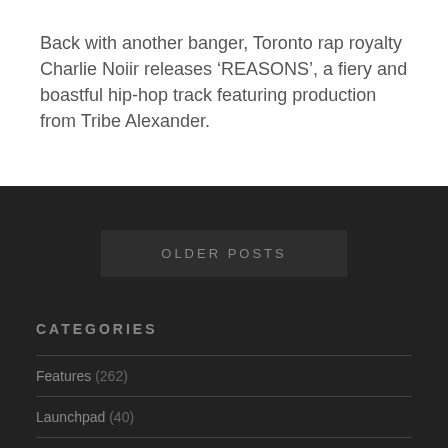Back with another banger, Toronto rap royalty Charlie Noiir releases ‘REASONS’, a fiery and boastful hip-hop track featuring production from Tribe Alexander.
OLDER POSTS
CATEGORIES
Features (262)
Launchpad (40)